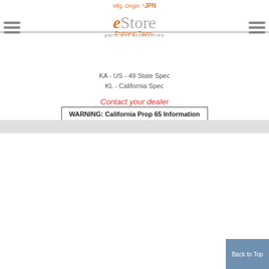Mfg. Origin: *JPN
[Figure (logo): eStore parts and accessories logo]
Emission Types:
KA - US - 49 State Spec
KL - California Spec
Contact your dealer
WARNING: California Prop 65 Information
Spark Plug (W14ekr-S11) (Denso)
Part Number: 98079-54183
Mfg. Origin: *JPN
Emission Types:
KA - US - 49 State Spec
KL - California Spec
Contact your dealer